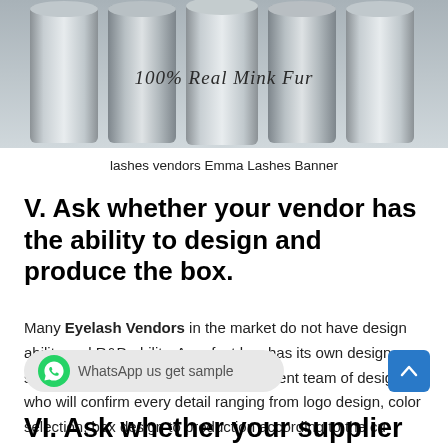[Figure (photo): Row of silver/steel cylindrical containers with script text reading '100% Real Mink Fur' overlaid on the image]
lashes vendors Emma Lashes Banner
V. Ask whether your vendor has the ability to design and produce the box.
Many Eyelash Vendors in the market do not have design ability and R&D ability. A perfect box has its own design style and ideas. We have an independent team of designers who will confirm every detail ranging from logo design, color selection, box design to production according to the cu
[Figure (infographic): WhatsApp button with green icon and text 'WhatsApp us get sample']
VI. Ask whether your supplier